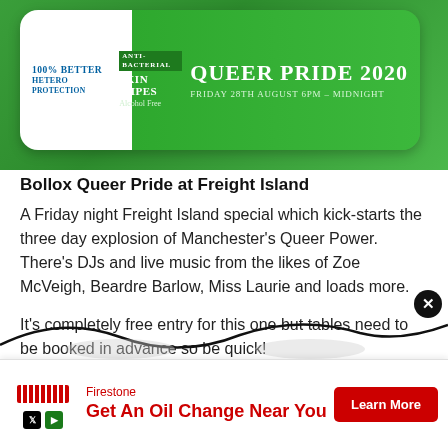[Figure (photo): Anti-bacterial skin wipes packet with 'QUEER PRIDE 2020 FRIDAY 28TH AUGUST 6PM - MIDNIGHT' text on a green background. Left side says '100% BETTER HETERO PROTECTION'. Middle says 'ANTI-BACTERIAL SKIN WIPES Alcohol Free'.]
Bollox Queer Pride at Freight Island
A Friday night Freight Island special which kick-starts the three day explosion of Manchester's Queer Power. There's DJs and live music from the likes of Zoe McVeigh, Beardre Barlow, Miss Laurie and loads more.
It's completely free entry for this one but tables need to be booked in advance so be quick!
[Figure (other): Wavy decorative black line / car silhouette at bottom of content area]
[Figure (other): Firestone advertisement banner: 'Get An Oil Change Near You' with Learn More button in red]